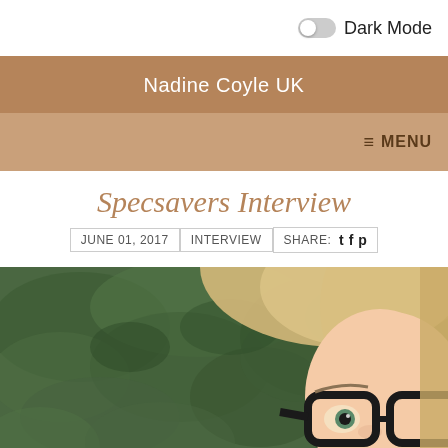Dark Mode
Nadine Coyle UK
≡ MENU
Specsavers Interview
JUNE 01, 2017   INTERVIEW   SHARE: t f p
[Figure (photo): Blonde woman wearing large black-rimmed glasses with mouth open in surprise, outdoors with green foliage in the background]